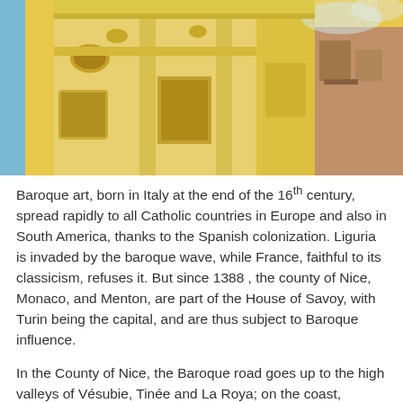[Figure (photo): Upward-angle photograph of a yellow Baroque-style church or building facade with ornate architectural details against a blue sky, with adjacent buildings visible on the right.]
Baroque art, born in Italy at the end of the 16th century, spread rapidly to all Catholic countries in Europe and also in South America, thanks to the Spanish colonization. Liguria is invaded by the baroque wave, while France, faithful to its classicism, refuses it. But since 1388 , the county of Nice, Monaco, and Menton, are part of the House of Savoy, with Turin being the capital, and are thus subject to Baroque influence.
In the County of Nice, the Baroque road goes up to the high valleys of Vésubie, Tinée and La Roya; on the coast,